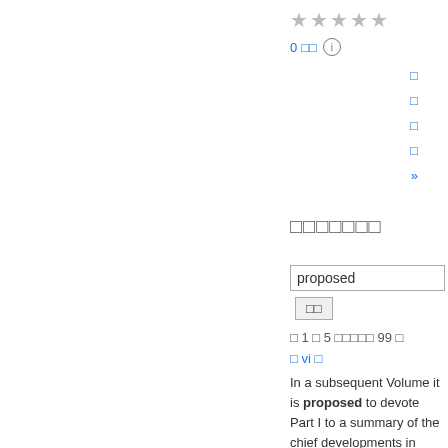[Figure (other): Star rating display showing 4 grey stars]
0 □□ ℹ
□
□
□
□
»
□□□□□□□
proposed
□□
□ 1 □ 5 □□□□□ 99 □
□ vi □
In a subsequent Volume it is proposed to devote Part I to a summary of the chief developments in progress made in each of the several